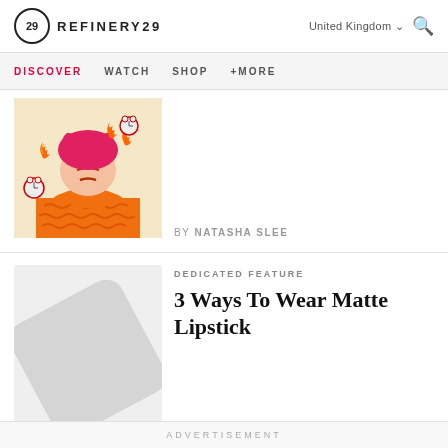REFINERY29 | United Kingdom
DISCOVER  WATCH  SHOP  +MORE
[Figure (illustration): Illustration of an angry woman with red hair surrounded by flames and alarm clocks, wearing an orange sweater]
by NATASHA SLEE
DEDICATED FEATURE
3 Ways To Wear Matte Lipstick
[Figure (illustration): Placeholder grey diagonal shape/image for article thumbnail]
by NATASHA SLEE
ADVERTISEMENT